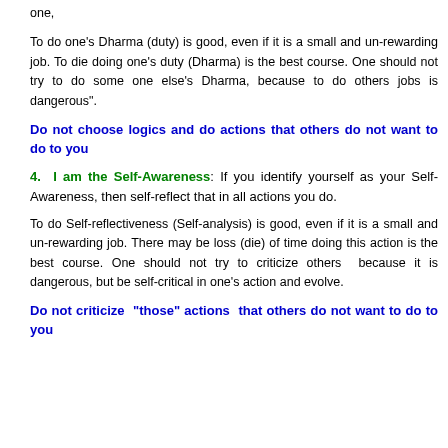one,
To do one's Dharma (duty) is good, even if it is a small and un-rewarding job. To die doing one's duty (Dharma) is the best course. One should not try to do some one else's Dharma, because to do others jobs is dangerous".
Do not choose logics and do actions that others do not want to do to you
4. I am the Self-Awareness: If you identify yourself as your Self-Awareness, then self-reflect that in all actions you do.
To do Self-reflectiveness (Self-analysis) is good, even if it is a small and un-rewarding job. There may be loss (die) of time doing this action is the best course. One should not try to criticize others because it is dangerous, but be self-critical in one's action and evolve.
Do not criticize "those" actions that others do not want to do to you